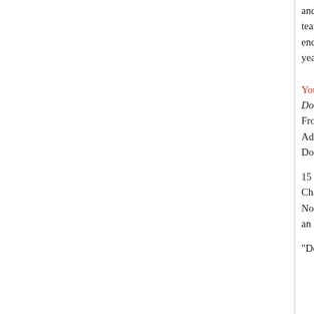and winning percentage are Rockets franchise rec- team after the 2002-03 season when he was diag- ending a 33-year association with the Rockets fran- years in Houston--as a player, assistant coach and
YouTube
Don't ever underestimate the heart of a champion!
From: chalidibmalwaled
Added: May 07, 2007
Don't ever underestimate the heart of a champion!
15 June 1995, Tyrone (PA) , "Rockets Complete S Championship," pg. 4, cols. 5-6: Not only were the Rockets the lowest seed ever to an NBA record nine times on the road along the wa
“Don’t ever underestimate the heart of a champion
Posted by Barry Popik Texas (Lone Star State Dictionary) • (0) Comments • Satu